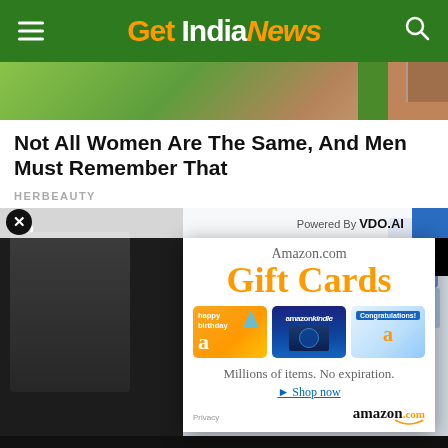Get India News
[Figure (photo): Partial hero image showing greenery/building]
Not All Women Are The Same, And Men Must Remember That
HERBEAUTY
[Figure (screenshot): Amazon.com Gift Cards advertisement overlay with 'Gift Cards', happy birthday card, amazonkindle card, Congratulations card, Millions of items. No expiration. Shop now. amazon.com]
[Figure (screenshot): Background video player content area with 'No' text visible and bottom text 'Own Zodiac Sign' with 'h Your' text]